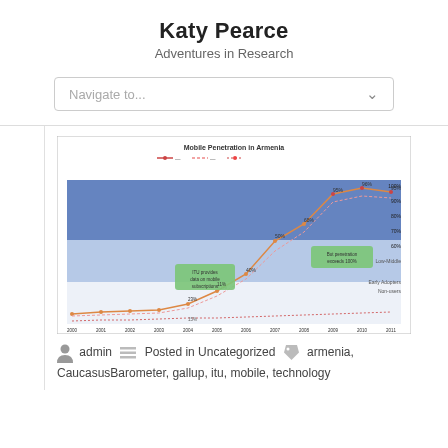Katy Pearce
Adventures in Research
Navigate to...
[Figure (line-chart): Line chart showing mobile penetration in Armenia over years with multiple data series and annotated regions including blue and light blue zones, green callout boxes, and trend lines for different mobile metrics.]
admin   Posted in Uncategorized   armenia, CaucasusBarometer, gallup, itu, mobile, technology